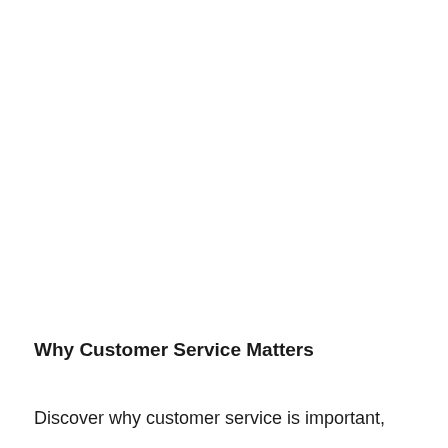Why Customer Service Matters
Discover why customer service is important,